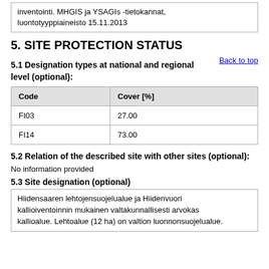inventointi. MHGIS ja YSAGIs -tietokannat, luontotyyppiaineisto 15.11.2013
5. SITE PROTECTION STATUS
5.1 Designation types at national and regional level (optional):
| Code | Cover [%] |
| --- | --- |
| FI03 | 27.00 |
| FI14 | 73.00 |
5.2 Relation of the described site with other sites (optional):
No information provided
5.3 Site designation (optional)
Hiidensaaren lehtojensuojelualue ja Hiidenvuori kallioiventoinnin mukainen valtakunnallisesti arvokas kallioalue. Lehtoalue (12 ha) on valtion luonnonsuojelualue.